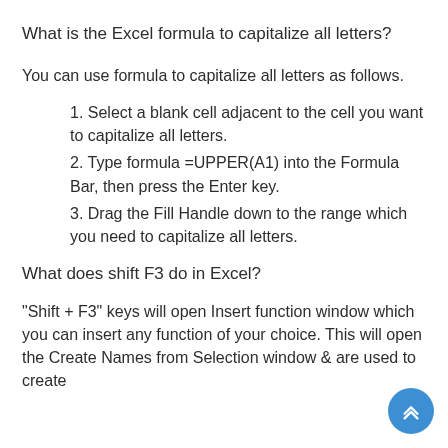What is the Excel formula to capitalize all letters?
You can use formula to capitalize all letters as follows.
1. Select a blank cell adjacent to the cell you want to capitalize all letters.
2. Type formula =UPPER(A1) into the Formula Bar, then press the Enter key.
3. Drag the Fill Handle down to the range which you need to capitalize all letters.
What does shift F3 do in Excel?
“Shift + F3” keys will open Insert function window which you can insert any function of your choice. This will open the Create Names from Selection window & are used to create